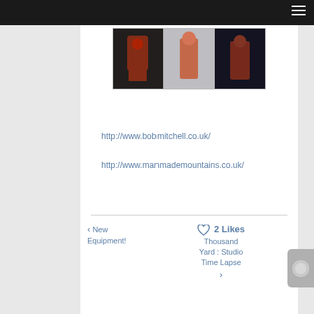Navigation bar with hamburger menu
[Figure (photo): Three photo thumbnails in a strip showing people in orange/red outfits in dark industrial settings]
http://www.bobmitchell.co.uk/
http://www.manmademountains.co.uk/
< New Equipment!    ♡ 2 Likes    Thousand Yard : Studio Time Lapse >